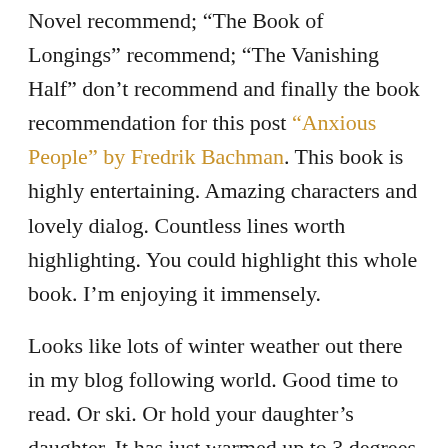Novel recommend; "The Book of Longings" recommend; "The Vanishing Half" don't recommend and finally the book recommendation for this post "Anxious People" by Fredrik Bachman. This book is highly entertaining. Amazing characters and lovely dialog. Countless lines worth highlighting. You could highlight this whole book. I'm enjoying it immensely.
Looks like lots of winter weather out there in my blog following world. Good time to read. Or ski. Or hold your daughter's daughter. It has just warmed up to 3 degrees above zero here. We're waiting for it to be 5 before we head outside and get some exercise, walk the dog. Cleaned out the spice drawer, then the pantry. I'll do the refrigerator next. It's that kind of day. Valentine's Eve. It's a hot chocolate kind of day. Brett says we don't have to have Hot Chocolate rules when it's this cold outside.